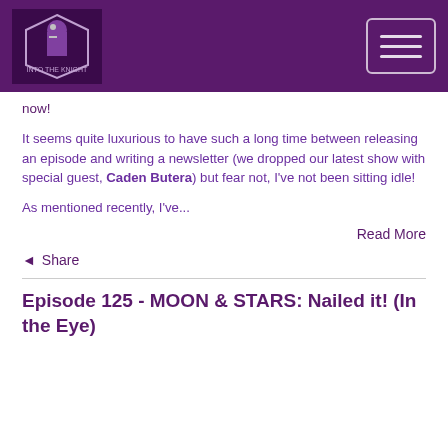Into the Knight logo and navigation
now!
It seems quite luxurious to have such a long time between releasing an episode and writing a newsletter (we dropped our latest show with special guest, Caden Butera) but fear not, I've not been sitting idle!
As mentioned recently, I've...
Read More
Share
Episode 125 - MOON & STARS: Nailed it! (In the Eye)